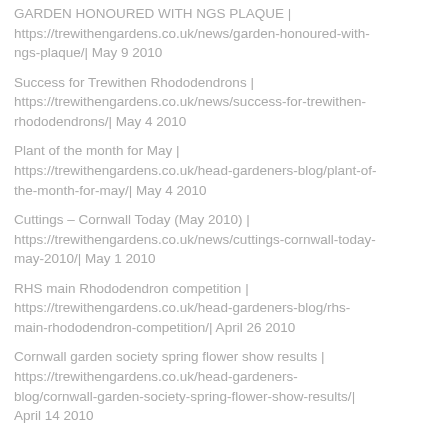GARDEN HONOURED WITH NGS PLAQUE | https://trewithengardens.co.uk/news/garden-honoured-with-ngs-plaque/| May 9 2010
Success for Trewithen Rhododendrons | https://trewithengardens.co.uk/news/success-for-trewithen-rhododendrons/| May 4 2010
Plant of the month for May | https://trewithengardens.co.uk/head-gardeners-blog/plant-of-the-month-for-may/| May 4 2010
Cuttings – Cornwall Today (May 2010) | https://trewithengardens.co.uk/news/cuttings-cornwall-today-may-2010/| May 1 2010
RHS main Rhododendron competition | https://trewithengardens.co.uk/head-gardeners-blog/rhs-main-rhododendron-competition/| April 26 2010
Cornwall garden society spring flower show results | https://trewithengardens.co.uk/head-gardeners-blog/cornwall-garden-society-spring-flower-show-results/| April 14 2010